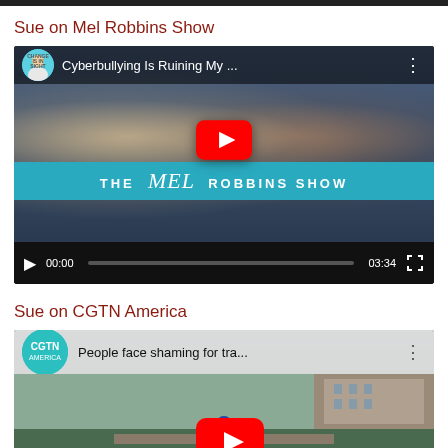Sue on Mel Robbins Show
[Figure (screenshot): YouTube video thumbnail showing two women talking on The Mel Robbins Show, video titled 'Cyberbullying Is Ruining My ...' with play button overlay and video controls showing 00:00 / 03:34]
Sue on CGTN America
[Figure (screenshot): YouTube video thumbnail from CGTN America channel showing a person outdoors at what appears to be a golf course, video titled 'People face shaming for tra...' with play button overlay]